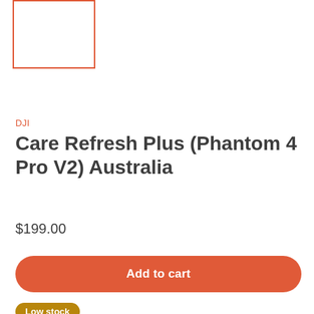[Figure (other): Product image placeholder box with orange border]
DJI
Care Refresh Plus (Phantom 4 Pro V2) Australia
$199.00
Add to cart
Low stock